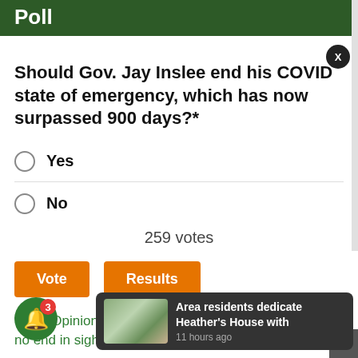Poll
Should Gov. Jay Inslee end his COVID state of emergency, which has now surpassed 900 days?*
Yes
No
259 votes
Vote  Results
*See: Opinion... no end in sight
Area residents dedicate Heather's House with  11 hours ago